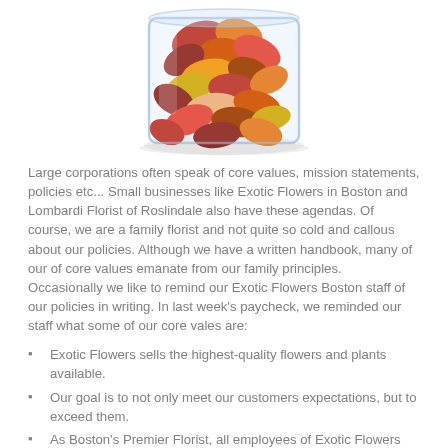[Figure (photo): A glass jar/vase filled with colorful autumn leaves in red, orange, yellow, and brown, photographed from above at a slight angle on a white background.]
Large corporations often speak of core values, mission statements, policies etc... Small businesses like Exotic Flowers in Boston and Lombardi Florist of Roslindale also have these agendas. Of course, we are a family florist and not quite so cold and callous about our policies. Although we have a written handbook, many of our of core values emanate from our family principles. Occasionally we like to remind our Exotic Flowers Boston staff of our policies in writing. In last week's paycheck, we reminded our staff what some of our core vales are:
Exotic Flowers sells the highest-quality flowers and plants available.
Our goal is to not only meet our customers expectations, but to exceed them.
As Boston's Premier Florist, all employees of Exotic Flowers realize the importance of sending and sharing our clients' emotions.